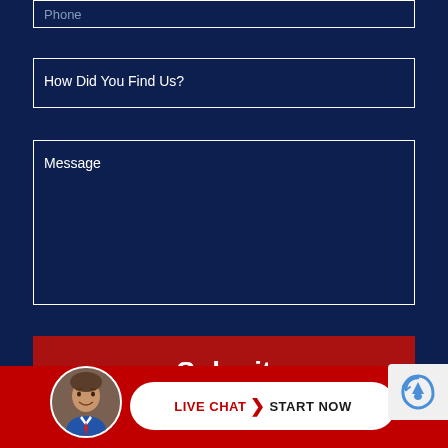Phone
How Did You Find Us?
Message
Submit
[Figure (screenshot): Live chat widget at bottom with circular avatar photo of a man in a suit, and a white pill-shaped button reading LIVE CHAT > START NOW on a red bar, plus a partial reCAPTCHA logo in the bottom-right corner.]